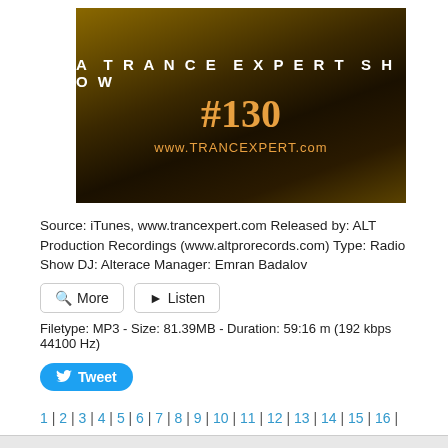[Figure (illustration): A Trance Expert Show #130 album art with golden/dark background, showing show title, episode number and website URL]
Source: iTunes, www.trancexpert.com Released by: ALT Production Recordings (www.altprorecords.com) Type: Radio Show DJ: Alterace Manager: Emran Badalov
Q More  ▶ Listen
Filetype: MP3 - Size: 81.39MB - Duration: 59:16 m (192 kbps 44100 Hz)
Tweet
1 | 2 | 3 | 4 | 5 | 6 | 7 | 8 | 9 | 10 | 11 | 12 | 13 | 14 | 15 | 16 | 17 | 18 | 19 | 20 | 21 | 22 | 23 | 24 | 25 | 26 | 27 | 28 | 29 | 30 | 31 | 32 | 33 | 34 | 35 | 36 | 37 | 38 | 39 | 40 | 41 | 42 |